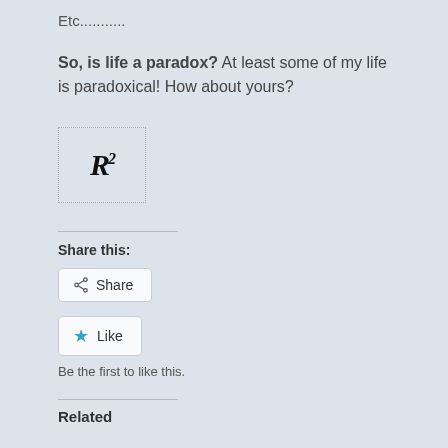Etc...........
So, is life a paradox? At least some of my life is paradoxical! How about yours?
[Figure (logo): Logo with stylized italic R² text inside a dotted border box]
Share this:
Share
Like
Be the first to like this.
Related